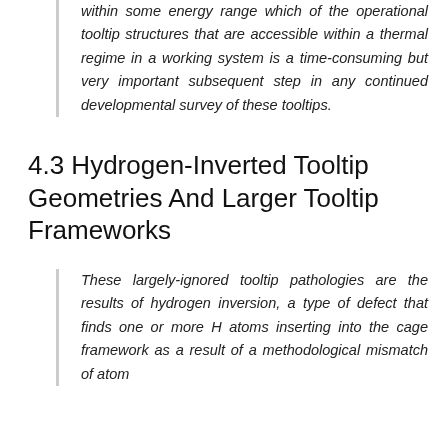within some energy range which of the operational tooltip structures that are accessible within a thermal regime in a working system is a time-consuming but very important subsequent step in any continued developmental survey of these tooltips.
4.3 Hydrogen-Inverted Tooltip Geometries And Larger Tooltip Frameworks
These largely-ignored tooltip pathologies are the results of hydrogen inversion, a type of defect that finds one or more H atoms inserting into the cage framework as a result of a methodological mismatch of atom